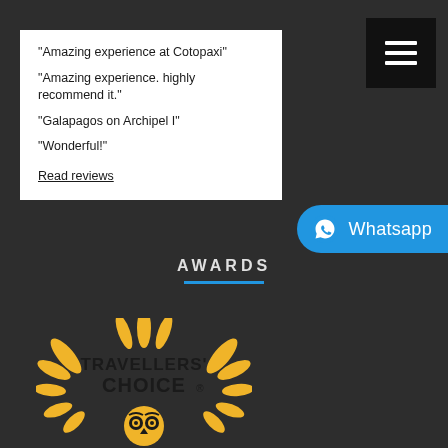“Amazing experience at Cotopaxi”
“Amazing experience. highly recommend it.”
“Galapagos on Archipel I”
“Wonderful!”
Read reviews
[Figure (other): Hamburger menu button (three horizontal white lines on black background)]
[Figure (other): WhatsApp button - blue pill-shaped button with WhatsApp icon and text 'Whatsapp']
AWARDS
[Figure (logo): TripAdvisor Travellers' Choice award logo in gold/yellow color showing owl face and decorative elements with text TRAVELLERS' CHOICE]